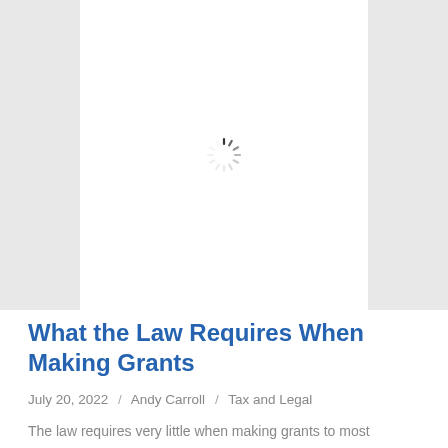[Figure (other): Loading spinner/throbber icon centered in a white area flanked by gray sidebar panels, indicating an image or media element loading]
What the Law Requires When Making Grants
July 20, 2022  /  Andy Carroll  /  Tax and Legal
The law requires very little when making grants to most